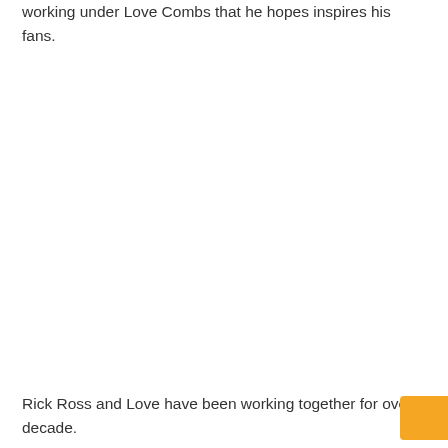working under Love Combs that he hopes inspires his fans.
Rick Ross and Love have been working together for over a decade.